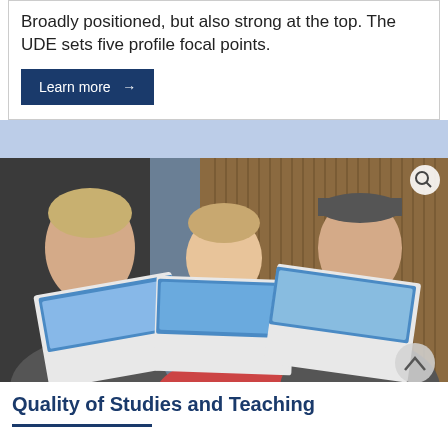Broadly positioned, but also strong at the top. The UDE sets five profile focal points.
Learn more →
[Figure (photo): Three smiling university students holding brochures/folders showing UDE campus imagery, standing in front of a wooden-slat wall]
Quality of Studies and Teaching